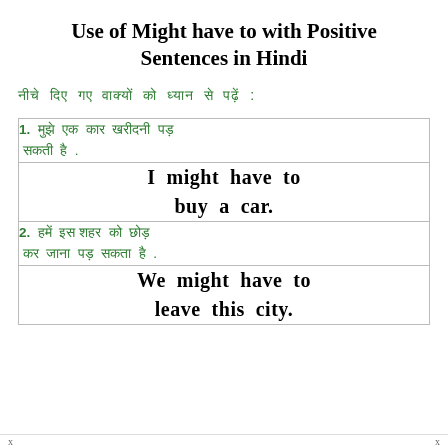Use of Might have to with Positive Sentences in Hindi
नीचे दिए गए वाक्यों को ध्यान से पढ़ें :
| 1. मुझे एक कार खरीदनी पड़ सकती है . | I might have to buy a car. |
| 2. हमें इस शहर को छोड़ना पड़ सकता है . | We might have to leave this city. |
x  x